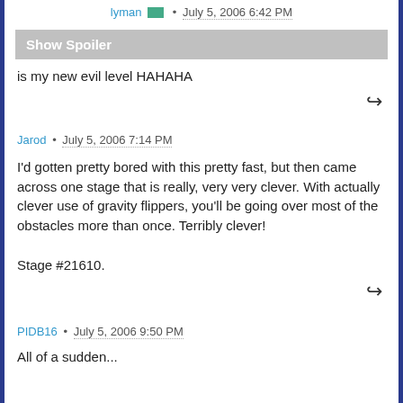lyman • July 5, 2006 6:42 PM
Show Spoiler
is my new evil level HAHAHA
Jarod • July 5, 2006 7:14 PM
I'd gotten pretty bored with this pretty fast, but then came across one stage that is really, very very clever. With actually clever use of gravity flippers, you'll be going over most of the obstacles more than once. Terribly clever!

Stage #21610.
PIDB16 • July 5, 2006 9:50 PM
All of a sudden...